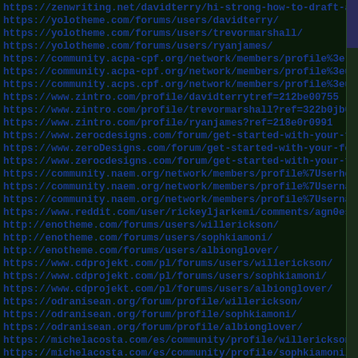https://zenwriting.net/davidterry/hi-strong-how-to-draft-a
https://yolotheme.com/forums/users/davidterry/
https://yolotheme.com/forums/users/trevormarshall/
https://yolotheme.com/forums/users/ryanjames/
https://community.acpa-cpf.org/network/members/profile%3e
https://community.acpa-cpf.org/network/members/profile%3eus
https://community.acps.cpf.org/network/members/profile%3eus
https://www.zintro.com/profile/davidterrytref=212be00755
https://www.zintro.com/profile/trevormarshall?ref=322b0jb0c
https://www.zintro.com/profile/ryanjames?ref=218e0r0991
https://www.zerocdesigns.com/forum/get-started-with-your-fo
https://www.zerocdesigns.com/forum/get-started-with-your-fo
https://www.zerocdesigns.com/forum/get-started-with-your-fo
https://community.naem.org/network/members/profile%7UserheyO
https://community.naem.org/network/members/profile%7Usernay-
https://community.naem.org/network/members/profile%7Usernay-
https://www.reddit.com/user/rickeyljarkemi/comments/agn0ess
http://enotheme.com/forums/users/willerickson/
http://enotheme.com/forums/users/sophkiamoni/
http://enotheme.com/forums/users/albionglover/
https://www.cdprojekt.com/pl/forums/users/willerickson/
https://www.cdprojekt.com/pl/forums/users/sophkiamoni/
https://www.cdprojekt.com/pl/forums/users/albionglover/
https://odranisean.org/forum/profile/willerickson/
https://odranisean.org/forum/profile/sophkiamoni/
https://odranisean.org/forum/profile/albionglover/
https://michelacosta.com/es/community/profile/willerickson
https://michelacosta.com/es/community/profile/sophkiamoni/
https://michelacosta.com/es/community/profile/albionglover